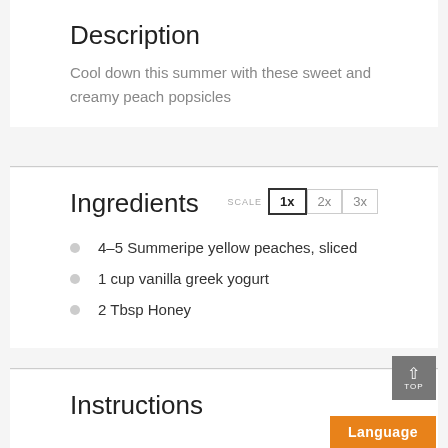Description
Cool down this summer with these sweet and creamy peach popsicles
Ingredients
4–5 Summeripe yellow peaches, sliced
1 cup vanilla greek yogurt
2 Tbsp Honey
Instructions